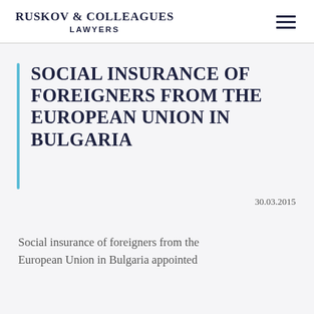Ruskov & Colleagues Lawyers
SOCIAL INSURANCE OF FOREIGNERS FROM THE EUROPEAN UNION IN BULGARIA
30.03.2015
Social insurance of foreigners from the European Union in Bulgaria appointed